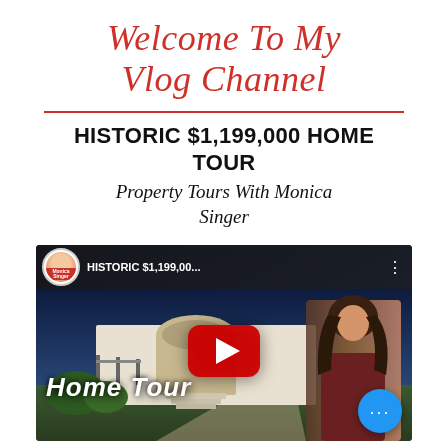Welcome To My Vlog Channel
HISTORIC $1,199,000 HOME TOUR
Property Tours With Monica Singer
[Figure (screenshot): YouTube video thumbnail for 'HISTORIC $1,199,00... Home Tour' featuring a channel avatar, play button, woman presenter, and a blue more options button]